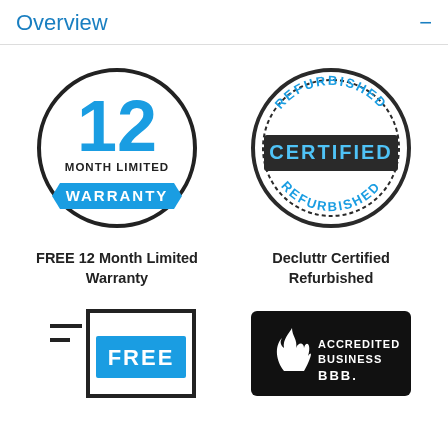Overview
[Figure (illustration): 12 Month Limited Warranty badge — blue circle outline with large blue '12' numeral, text 'MONTH LIMITED' below, and a blue ribbon banner with white text 'WARRANTY']
FREE 12 Month Limited Warranty
[Figure (illustration): Certified Refurbished stamp — dark circular stamp with 'REFURBISHED' arched top and bottom in blue, dark banner with white bold 'CERTIFIED' text across center]
Decluttr Certified Refurbished
[Figure (illustration): Partial view of a badge with 'FREE' in white text on blue background with list lines on left side]
[Figure (illustration): BBB Accredited Business logo — black rectangle with white BBB torch flame logo and text 'ACCREDITED BUSINESS' in white, 'BBB.' below in white]